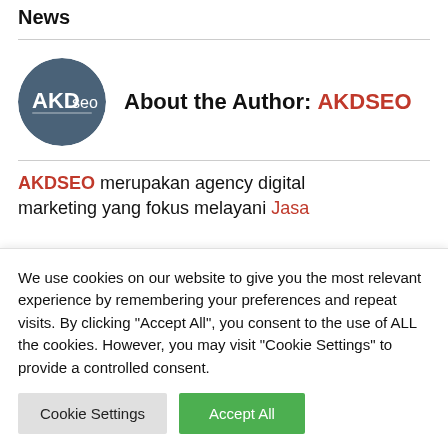News
[Figure (logo): AKDseo circular logo with dark blue/grey background and white text]
About the Author: AKDSEO
AKDSEO merupakan agency digital marketing yang fokus melayani Jasa
We use cookies on our website to give you the most relevant experience by remembering your preferences and repeat visits. By clicking "Accept All", you consent to the use of ALL the cookies. However, you may visit "Cookie Settings" to provide a controlled consent.